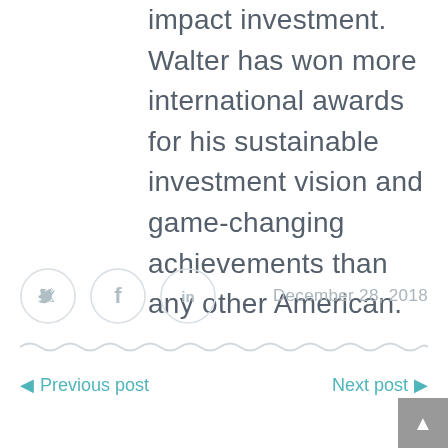impact investment. Walter has won more international awards for his sustainable investment vision and game-changing achievements than any other American.
[Figure (other): Three social media sharing icons in light gray circles: Twitter bird icon, Facebook 'f' icon, LinkedIn 'in' icon]
December 28, 2018
[Figure (other): Wavy decorative divider line in light gray]
◄ Previous post
Next post ►
[Figure (other): Gray back-to-top button with upward triangle arrow in bottom-right corner]